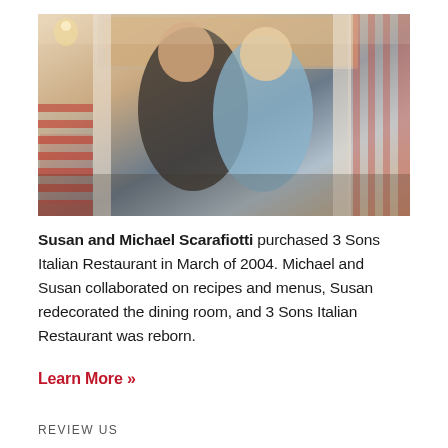[Figure (photo): Susan and Michael Scarafiotti smiling together inside a warmly decorated Italian restaurant dining room with red-and-white striped booth seating and artwork on the walls.]
Susan and Michael Scarafiotti purchased 3 Sons Italian Restaurant in March of 2004. Michael and Susan collaborated on recipes and menus, Susan redecorated the dining room, and 3 Sons Italian Restaurant was reborn.
Learn More »
REVIEW US